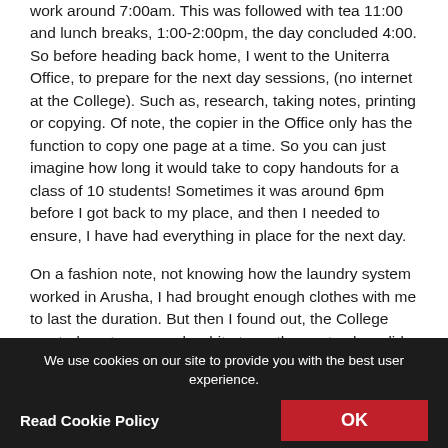work around 7:00am.  This was followed with tea 11:00 and lunch breaks, 1:00-2:00pm, the day concluded 4:00.  So before heading back home, I went to the Uniterra Office, to prepare for the next day sessions, (no internet at the College).  Such as, research, taking notes, printing or copying.  Of note, the copier in the Office only has the function to copy one page at a time.  So you can just imagine how long it would take to copy handouts for a class of 10 students!  Sometimes it was around 6pm before I got back to my place, and then I needed to ensure, I have had everything in place for the next day.
On a fashion note, not knowing how the laundry system worked in Arusha, I had brought enough clothes with me to last the duration. But then I found out, the College wanted me to wear only white tops, the pant colour did not matter. This was to maintain the white uniform structure, in the labs, amongst students and chefs.  Thanks goodness, I had brought 7 white tops with me, which last me for the week.  So now I have to wash these tops, at the weekend, for the start of a new week!
On a final note, everyone at the College is amazing, so, so friendly,
We use cookies on our site to provide you with the best user experience. Read Cookie Policy  OK